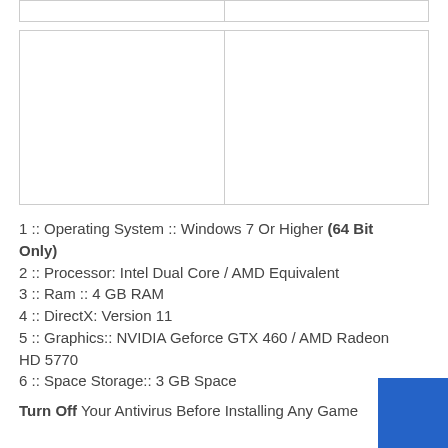|  |  |
|  |  |
1 :: Operating System :: Windows 7 Or Higher (64 Bit Only)
2 :: Processor: Intel Dual Core / AMD Equivalent
3 :: Ram :: 4 GB RAM
4 :: DirectX: Version 11
5 :: Graphics:: NVIDIA Geforce GTX 460 / AMD Radeon HD 5770
6 :: Space Storage:: 3 GB Space
Turn Off Your Antivirus Before Installing Any Game